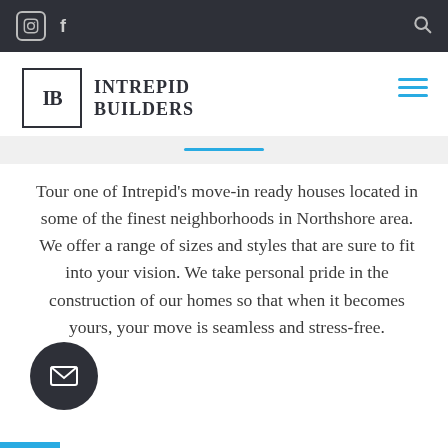Instagram | Facebook | Search
[Figure (logo): Intrepid Builders logo with IB monogram in a box and company name text]
Tour one of Intrepid's move-in ready houses located in some of the finest neighborhoods in Northshore area. We offer a range of sizes and styles that are sure to fit into your vision. We take personal pride in the construction of our homes so that when it becomes yours, your move is seamless and stress-free.